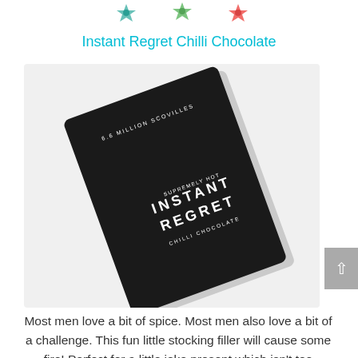[Figure (illustration): Colorful decorative icons/flowers at the top of the page]
Instant Regret Chilli Chocolate
[Figure (photo): A black rectangular chocolate bar package tilted at an angle, labeled 'SUPREMELY HOT INSTANT REGRET CHILLI CHOCOLATE' with '6.6 MILLION SCOVILLES' text]
Most men love a bit of spice. Most men also love a bit of a challenge. This fun little stocking filler will cause some fire! Perfect for a little joke present which isn't too